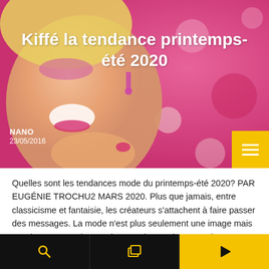[Figure (photo): Hero image of a glamorous young woman with pink makeup and earrings, on a pink polka dot background. Title text 'Kiffé la tendance printemps-été 2020' overlaid in white bold font. Author 'NANO' and date '23/05/2016' shown at bottom left. Yellow hamburger menu button at bottom right.]
Quelles sont les tendances mode du printemps-été 2020? PAR EUGÉNIE TROCHU2 MARS 2020. Plus que jamais, entre classicisme et fantaisie, les créateurs s'attachent à faire passer des messages. La mode n'est plus seulement une image mais aussi un vecteur de pensée. Premier combat ? Le changement climatique. Alors que 32 des principaux leaders du prêt à porter ont annoncé [...]